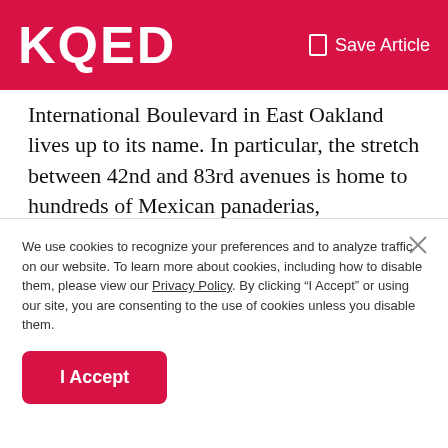KQED  Save Article
International Boulevard in East Oakland lives up to its name. In particular, the stretch between 42nd and 83rd avenues is home to hundreds of Mexican panaderias, Vietnamese nail salons, Black barber shops and other minority-owned businesses.
Before COVID-19 hit, this busy thoroughfare was bustling with foot traffic. But more than a year into the pandemic, almost every other shop is boarded up or closed with metal
We use cookies to recognize your preferences and to analyze traffic on our website. To learn more about cookies, including how to disable them, please view our Privacy Policy. By clicking “I Accept” or using our site, you are consenting to the use of cookies unless you disable them.
I Accept